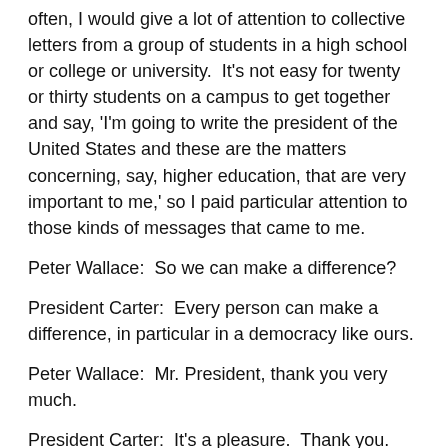often, I would give a lot of attention to collective letters from a group of students in a high school or college or university.  It's not easy for twenty or thirty students on a campus to get together and say, 'I'm going to write the president of the United States and these are the matters concerning, say, higher education, that are very important to me,' so I paid particular attention to those kinds of messages that came to me.
Peter Wallace:  So we can make a difference?
President Carter:  Every person can make a difference, in particular in a democracy like ours.
Peter Wallace:  Mr. President, thank you very much.
President Carter:  It's a pleasure.  Thank you.  _**